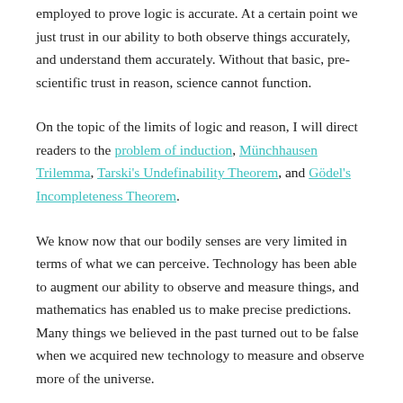employed to prove logic is accurate. At a certain point we just trust in our ability to both observe things accurately, and understand them accurately. Without that basic, pre-scientific trust in reason, science cannot function.
On the topic of the limits of logic and reason, I will direct readers to the problem of induction, Münchhausen Trilemma, Tarski's Undefinability Theorem, and Gödel's Incompleteness Theorem.
We know now that our bodily senses are very limited in terms of what we can perceive. Technology has been able to augment our ability to observe and measure things, and mathematics has enabled us to make precise predictions. Many things we believed in the past turned out to be false when we acquired new technology to measure and observe more of the universe.